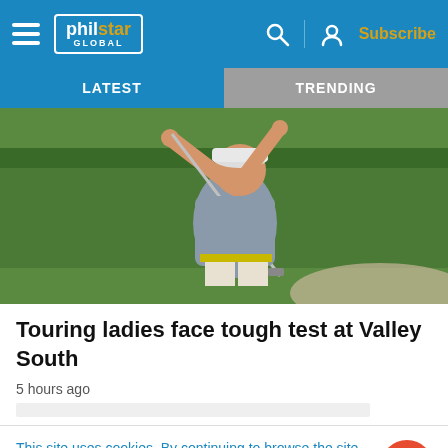philstar GLOBAL — Subscribe
LATEST | TRENDING
[Figure (photo): A woman golfer in a grey shirt and white cap swinging a golf club, with a green hedge background]
Touring ladies face tough test at Valley South
5 hours ago
This site uses cookies. By continuing to browse the site, you are agreeing to our use of cookies.